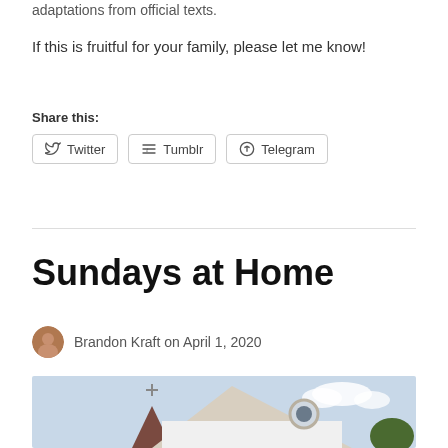adaptations from official texts.
If this is fruitful for your family, please let me know!
Share this:
Twitter  Tumblr  Telegram
Sundays at Home
Brandon Kraft on April 1, 2020
[Figure (photo): A white church building with a steeple topped by a cross, and a circular window, photographed from below against a light blue sky with clouds.]